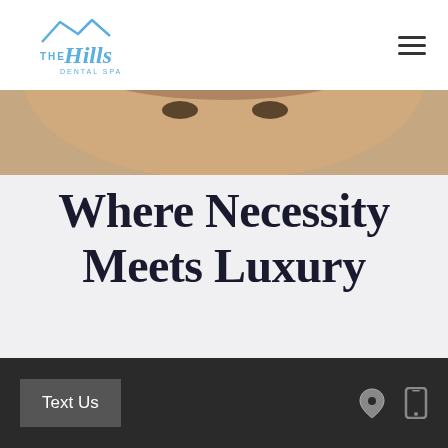The Hills Dental Spa
[Figure (photo): Top portion of a person's face (eyes, hair visible) — dental spa hero image]
Where Necessity Meets Luxury
REQUEST AN APPOINTMENT
[Figure (logo): SuperDentists logo with teal tooth icon between two horizontal lines, text reads SUPERDENTISTS]
Text Us